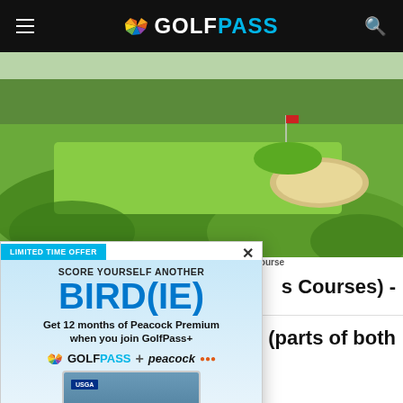GOLFPASS
[Figure (photo): Aerial view of a golf course fairway with sand bunker and green grass, The Pines Course]
View of the 16th hole from Our course - The Pines Course
s Courses) -
042 (parts of both
[Figure (advertisement): GolfPass promotional popup ad: 'SCORE YOURSELF ANOTHER BIRD(IE)' - Get 12 months of Peacock Premium when you join GolfPass+. JOIN NOW. $4.99/mo va us. Eligibility restrictions and terms apply.]